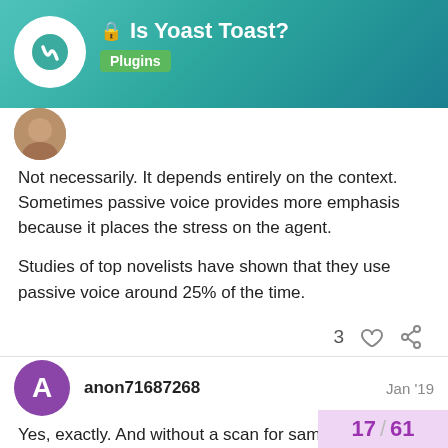Is Yoast Toast? — Plugins
Not necessarily. It depends entirely on the context. Sometimes passive voice provides more emphasis because it places the stress on the agent.

Studies of top novelists have shown that they use passive voice around 25% of the time.
anon71687268  Jan '19
Yes, exactly. And without a scan for same, you have no way of knowing what your percentage is. I aim for 5% or less.
17 / 61